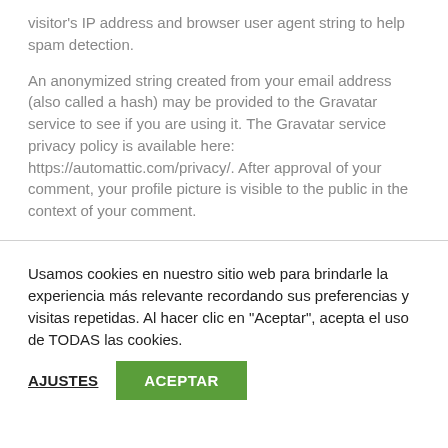visitor's IP address and browser user agent string to help spam detection.
An anonymized string created from your email address (also called a hash) may be provided to the Gravatar service to see if you are using it. The Gravatar service privacy policy is available here: https://automattic.com/privacy/. After approval of your comment, your profile picture is visible to the public in the context of your comment.
Usamos cookies en nuestro sitio web para brindarle la experiencia más relevante recordando sus preferencias y visitas repetidas. Al hacer clic en "Aceptar", acepta el uso de TODAS las cookies.
AJUSTES
ACEPTAR